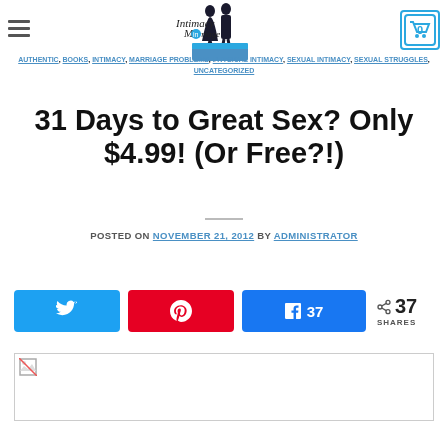AUTHENTIC, BOOKS, INTIMACY, MARRIAGE PROBLEMS, PHYSICAL INTIMACY, SEXUAL INTIMACY, STRUGGLES, SEXUAL STRUGGLES, UNCATEGORIZED
31 Days to Great Sex? Only $4.99! (Or Free?!)
POSTED ON NOVEMBER 21, 2012 BY ADMINISTRATOR
[Figure (infographic): Social share buttons: Twitter, Pinterest, Facebook with 37 shares count]
[Figure (photo): Article image placeholder (failed to load)]